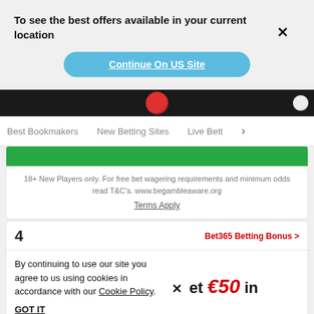To see the best offers available in your current location
Continue On US Site
Best Bookmakers   New Betting Sites   Live Bett >
18+ New Players only. For free bet wagering requirements and minimum odds read T&C's. www.begambleaware.org
Terms Apply
4
Bet365 Betting Bonus >
By continuing to use our site you agree to us using cookies in accordance with our Cookie Policy.
GOT IT
× et €50 in
BET NOW